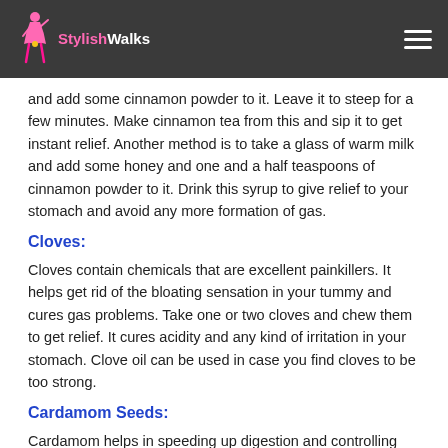StylishWalks
and add some cinnamon powder to it. Leave it to steep for a few minutes. Make cinnamon tea from this and sip it to get instant relief. Another method is to take a glass of warm milk and add some honey and one and a half teaspoons of cinnamon powder to it. Drink this syrup to give relief to your stomach and avoid any more formation of gas.
Cloves:
Cloves contain chemicals that are excellent painkillers. It helps get rid of the bloating sensation in your tummy and cures gas problems. Take one or two cloves and chew them to get relief. It cures acidity and any kind of irritation in your stomach. Clove oil can be used in case you find cloves to be too strong.
Cardamom Seeds:
Cardamom helps in speeding up digestion and controlling gas